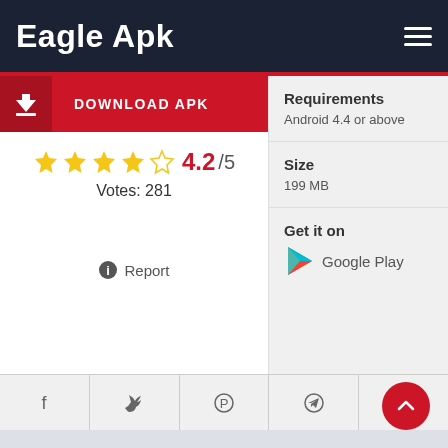Eagle Apk
DOWNLOAD APK
4.2/5 Votes: 281
Report
Requirements
Android 4.4 or above
Size
199 MB
Get it on
Google Play